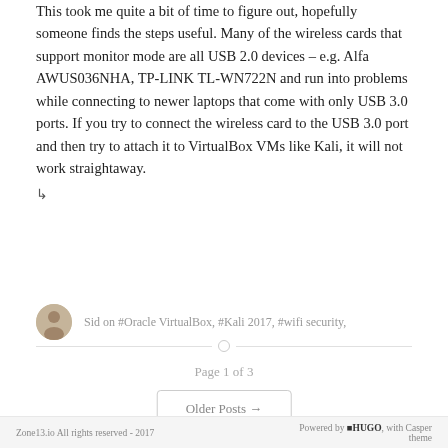This took me quite a bit of time to figure out, hopefully someone finds the steps useful. Many of the wireless cards that support monitor mode are all USB 2.0 devices – e.g. Alfa AWUS036NHA, TP-LINK TL-WN722N and run into problems while connecting to newer laptops that come with only USB 3.0 ports. If you try to connect the wireless card to the USB 3.0 port and then try to attach it to VirtualBox VMs like Kali, it will not work straightaway.
↳
Sid on #Oracle VirtualBox, #Kali 2017, #wifi security,
Page 1 of 3
Older Posts →
Zone13.io All rights reserved - 2017   Powered by HUGO, with Casper theme